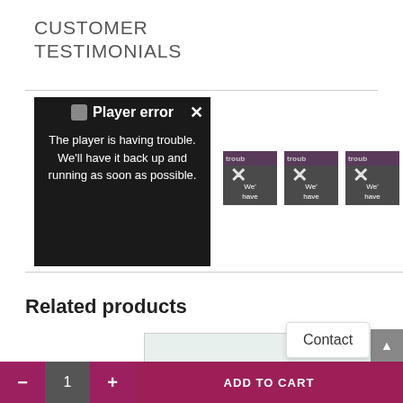CUSTOMER TESTIMONIALS
[Figure (screenshot): Video player showing a 'Player error' overlay message: 'The player is having trouble. We'll have it back up and running as soon as possible.' with a close X button. Dark overlay over a background video frame showing a person's face.]
[Figure (screenshot): Small thumbnail video with player error X overlay, showing partial text 'troub' and 'We' and 'have']
[Figure (screenshot): Small thumbnail video with player error X overlay, showing partial text 'troub' and 'We' and 'have']
[Figure (screenshot): Small thumbnail video with player error X overlay, showing partial text 'troub' and 'We' and 'have']
Related products
Contact
- 1 + ADD TO CART